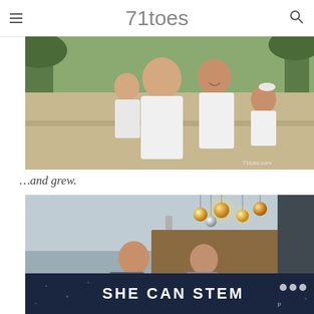71toes
[Figure (photo): Family photo outdoors with palm trees in background. A man in white shirt holds two small children, a woman in white smiles beside him. Watermark reads '71toes.com'.]
…and grew.
[Figure (photo): Indoor photo of a couple sitting at a table with gold and silver ornament ball lights hanging above. A dark navy banner overlays the bottom reading 'SHE CAN STEM' with a logo on the right.]
SHE CAN STEM